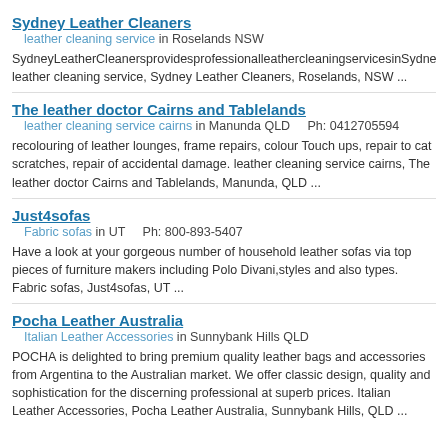Sydney Leather Cleaners
leather cleaning service in Roselands NSW
SydneyLeatherCleanersprovidesprofessionalleathercleaningservicesinSydneyandsurrounds... leather cleaning service, Sydney Leather Cleaners, Roselands, NSW ...
The leather doctor Cairns and Tablelands
leather cleaning service cairns in Manunda QLD    Ph: 0412705594
recolouring of leather lounges, frame repairs, colour Touch ups, repair to cat scratches, repair of accidental damage. leather cleaning service cairns, The leather doctor Cairns and Tablelands, Manunda, QLD ...
Just4sofas
Fabric sofas in UT    Ph: 800-893-5407
Have a look at your gorgeous number of household leather sofas via top pieces of furniture makers including Polo Divani,styles and also types. Fabric sofas, Just4sofas, UT ...
Pocha Leather Australia
Italian Leather Accessories in Sunnybank Hills QLD
POCHA is delighted to bring premium quality leather bags and accessories from Argentina to the Australian market. We offer classic design, quality and sophistication for the discerning professional at superb prices. Italian Leather Accessories, Pocha Leather Australia, Sunnybank Hills, QLD ...